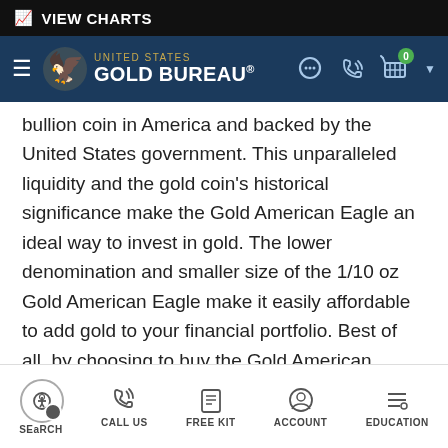VIEW CHARTS
[Figure (logo): United States Gold Bureau logo with eagle emblem on dark blue navigation bar]
bullion coin in America and backed by the United States government. This unparalleled liquidity and the gold coin's historical significance make the Gold American Eagle an ideal way to invest in gold. The lower denomination and smaller size of the 1/10 oz Gold American Eagle make it easily affordable to add gold to your financial portfolio. Best of all, by choosing to buy the Gold American Eagle, you decide to invest in American gold!
SEARCH | CALL US | FREE KIT | ACCOUNT | EDUCATION